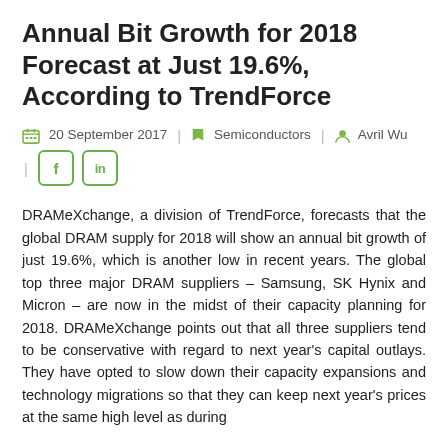Annual Bit Growth for 2018 Forecast at Just 19.6%, According to TrendForce
20 September 2017 | Semiconductors | Avril Wu
DRAMeXchange, a division of TrendForce, forecasts that the global DRAM supply for 2018 will show an annual bit growth of just 19.6%, which is another low in recent years. The global top three major DRAM suppliers – Samsung, SK Hynix and Micron – are now in the midst of their capacity planning for 2018. DRAMeXchange points out that all three suppliers tend to be conservative with regard to next year's capital outlays. They have opted to slow down their capacity expansions and technology migrations so that they can keep next year's prices at the same high level as during